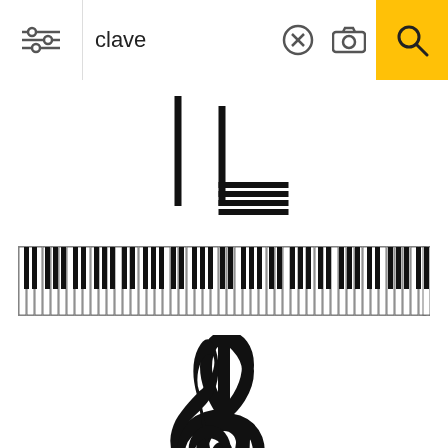clave
[Figure (illustration): Music notation symbol - appears to be a bass clef or similar musical notation with ledger lines]
[Figure (illustration): Full piano keyboard spanning multiple octaves]
[Figure (illustration): Treble clef (clave de sol) music symbol in black]
[Figure (illustration): Bass clef with sharp symbol, partially visible at bottom]